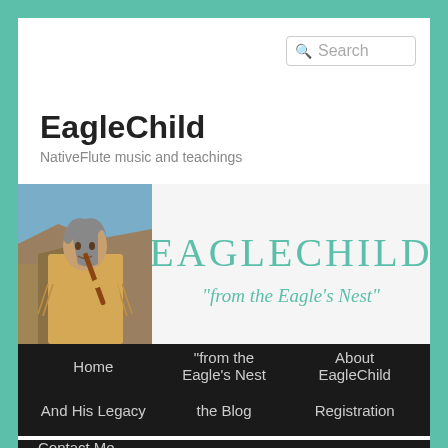Search
EagleChild
NativeFlute music and teachings
[Figure (photo): Person playing a Native American flute outdoors near rocky canyon landscape]
[Figure (logo): EagleChild logo with text 'EAGLECHILD' and subtitle 'from the Eagle's Nest' in teal serif font]
Home
“from the Eagle’s Nest
About EagleChild
And His Legacy
the Blog
Registration
Contact Me